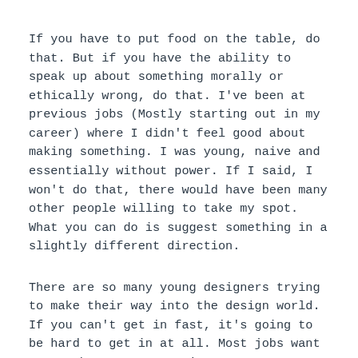If you have to put food on the table, do that. But if you have the ability to speak up about something morally or ethically wrong, do that. I've been at previous jobs (Mostly starting out in my career) where I didn't feel good about making something. I was young, naive and essentially without power. If I said, I won't do that, there would have been many other people willing to take my spot. What you can do is suggest something in a slightly different direction.
There are so many young designers trying to make their way into the design world. If you can't get in fast, it's going to be hard to get in at all. Most jobs want you to have some experience. So I am not saying be quiet and submissive. If you are in that same position as I was, just be smart and wait for your moment. It will come. After you have some design under your belt, you can say no to projects, or